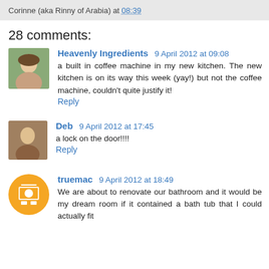Corinne (aka Rinny of Arabia) at 08:39
28 comments:
Heavenly Ingredients 9 April 2012 at 09:08
a built in coffee machine in my new kitchen. The new kitchen is on its way this week (yay!) but not the coffee machine, couldn't quite justify it!
Reply
Deb 9 April 2012 at 17:45
a lock on the door!!!!
Reply
truemac 9 April 2012 at 18:49
We are about to renovate our bathroom and it would be my dream room if it contained a bath tub that I could actually fit